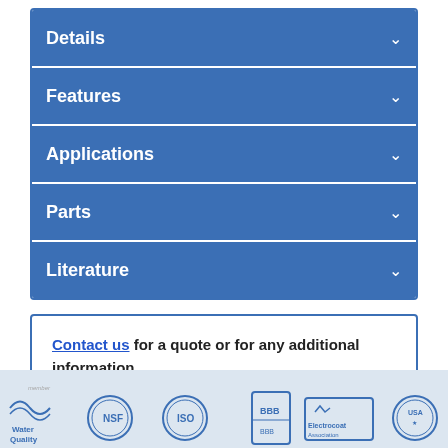Details
Features
Applications
Parts
Literature
Contact us for a quote or for any additional information or call us at 1.800.321.9321
[Figure (logo): Footer with certification logos: Water Quality Association, NSF, ISO, BBB, Electrocoat Association, USA made logos]